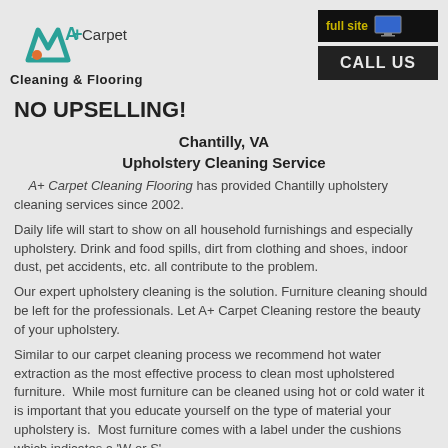[Figure (logo): A+ Carpet Cleaning & Flooring logo with teal/orange M-shaped icon and company name]
[Figure (screenshot): Full site button with monitor icon on black background with yellow text]
[Figure (other): CALL US button, black background with white text]
NO UPSELLING!
Chantilly, VA
Upholstery Cleaning Service
A+ Carpet Cleaning Flooring has provided Chantilly upholstery cleaning services since 2002.
Daily life will start to show on all household furnishings and especially upholstery. Drink and food spills, dirt from clothing and shoes, indoor dust, pet accidents, etc. all contribute to the problem.
Our expert upholstery cleaning is the solution. Furniture cleaning should be left for the professionals. Let A+ Carpet Cleaning restore the beauty of your upholstery.
Similar to our carpet cleaning process we recommend hot water extraction as the most effective process to clean most upholstered furniture.  While most furniture can be cleaned using hot or cold water it is important that you educate yourself on the type of material your upholstery is.  Most furniture comes with a label under the cushions which indicates a 'W or S'